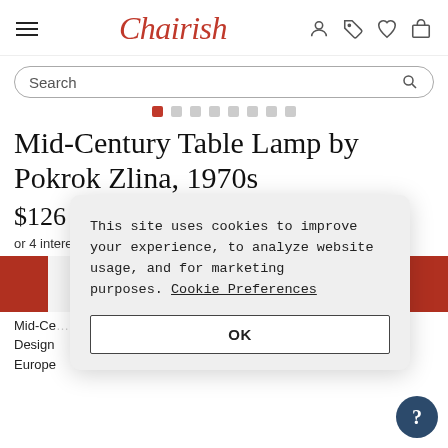Chairish
Search
[Figure (screenshot): Carousel dot indicators, first dot active (red), rest gray]
Mid-Century Table Lamp by Pokrok Zlina, 1970s
$126
or 4 interest-free payments of $31.50 with afterpay (?)
[Figure (photo): Product image area with red square navigation arrows on both sides]
Mid-Ce... itions. Design... Europe...
This site uses cookies to improve your experience, to analyze website usage, and for marketing purposes. Cookie Preferences
OK